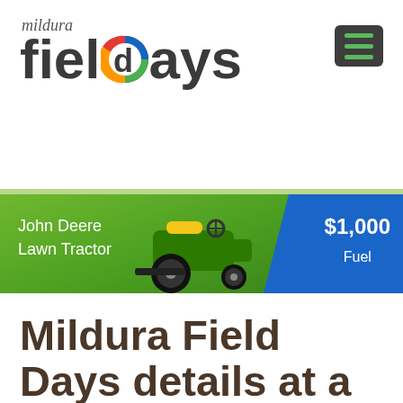[Figure (logo): Mildura Field Days logo with stylized 'fieldays' text and colorful circular D element, with italic 'mildura' script above]
[Figure (infographic): Banner advertisement showing John Deere Lawn Tractor on green gradient background with blue section showing $1,000 Fuel prize]
Mildura Field Days details at a glance